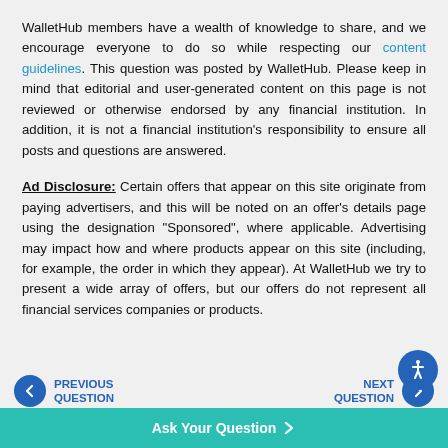WalletHub members have a wealth of knowledge to share, and we encourage everyone to do so while respecting our content guidelines. This question was posted by WalletHub. Please keep in mind that editorial and user-generated content on this page is not reviewed or otherwise endorsed by any financial institution. In addition, it is not a financial institution's responsibility to ensure all posts and questions are answered.
Ad Disclosure: Certain offers that appear on this site originate from paying advertisers, and this will be noted on an offer's details page using the designation "Sponsored", where applicable. Advertising may impact how and where products appear on this site (including, for example, the order in which they appear). At WalletHub we try to present a wide array of offers, but our offers do not represent all financial services companies or products.
PREVIOUS QUESTION
NEXT QUESTION
Ask Your Question